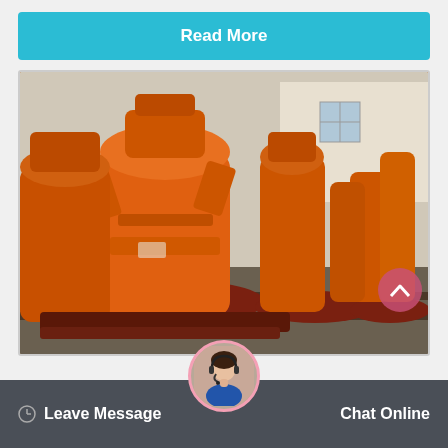Read More
[Figure (photo): Multiple orange industrial grinding mill machines (Raymond mills or similar) lined up in rows in a factory yard, with a white building visible in the background. The machines are large, cylindrical, painted bright orange with various mechanical attachments.]
Leave Message
Chat Online